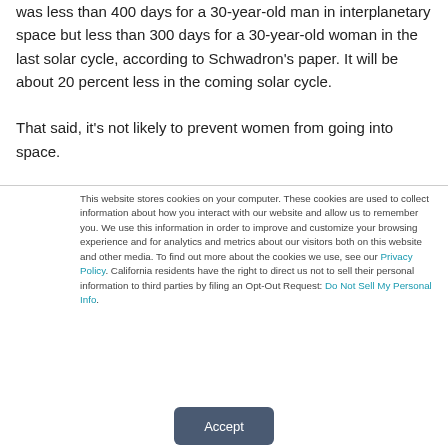was less than 400 days for a 30-year-old man in interplanetary space but less than 300 days for a 30-year-old woman in the last solar cycle, according to Schwadron's paper. It will be about 20 percent less in the coming solar cycle.

That said, it's not likely to prevent women from going into space.
This website stores cookies on your computer. These cookies are used to collect information about how you interact with our website and allow us to remember you. We use this information in order to improve and customize your browsing experience and for analytics and metrics about our visitors both on this website and other media. To find out more about the cookies we use, see our Privacy Policy. California residents have the right to direct us not to sell their personal information to third parties by filing an Opt-Out Request: Do Not Sell My Personal Info.